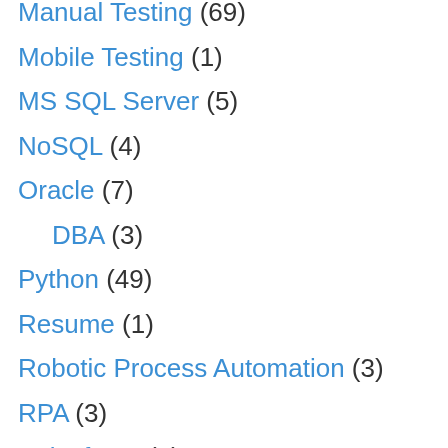Manual Testing (69)
Mobile Testing (1)
MS SQL Server (5)
NoSQL (4)
Oracle (7)
DBA (3)
Python (49)
Resume (1)
Robotic Process Automation (3)
RPA (3)
Salesforce (1)
SAP (3)